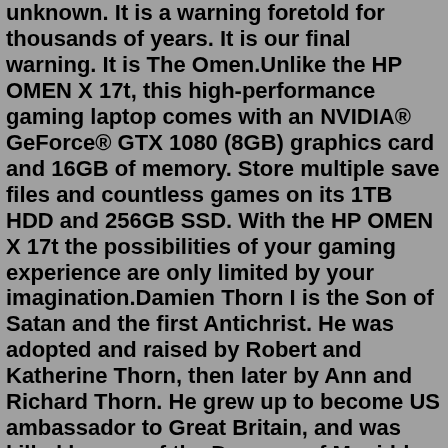unknown. It is a warning foretold for thousands of years. It is our final warning. It is The Omen.Unlike the HP OMEN X 17t, this high-performance gaming laptop comes with an NVIDIA® GeForce® GTX 1080 (8GB) graphics card and 16GB of memory. Store multiple save files and countless games on its 1TB HDD and 256GB SSD. With the HP OMEN X 17t the possibilities of your gaming experience are only limited by your imagination.Damien Thorn I is the Son of Satan and the first Antichrist. He was adopted and raised by Robert and Katherine Thorn, then later by Ann and Richard Thorn. He grew up to become US ambassador to Great Britain, and was killed by one of the Daggers of Megiddo. He is rumored to have been reborn in his son, Alexander York. (or, according to the novelization, Damien Thorn II) Damien was born of Satan ... Remembrance of the Omen King is a consumable tool in Elden Ring. Can either be used by hand to gain 30000 Runes, or be given to Finger Reader Enia in exchange for either Morgott's Cursed Sword or Regal Omen Bairn.The Omen is a 1976